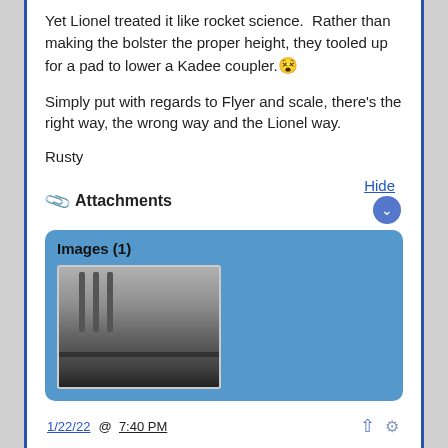Yet Lionel treated it like rocket science.  Rather than making the bolster the proper height, they tooled up for a pad to lower a Kadee coupler.😵
Simply put with regards to Flyer and scale, there's the right way, the wrong way and the Lionel way.
Rusty
📎 Attachments
[Figure (photo): Thumbnail image of a model train car undercarriage or bolster area, black and white photo showing structural details]
Images (1)
1/22/22 @ 7:40 PM